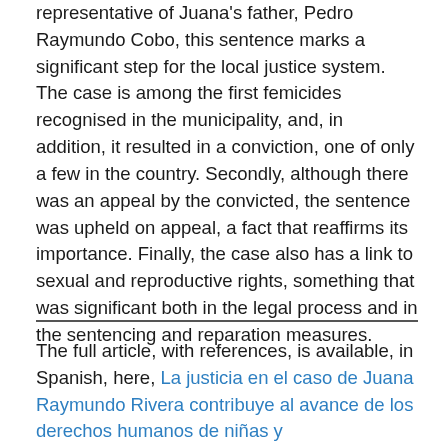representative of Juana's father, Pedro Raymundo Cobo, this sentence marks a significant step for the local justice system. The case is among the first femicides recognised in the municipality, and, in addition, it resulted in a conviction, one of only a few in the country. Secondly, although there was an appeal by the convicted, the sentence was upheld on appeal, a fact that reaffirms its importance. Finally, the case also has a link to sexual and reproductive rights, something that was significant both in the legal process and in the sentencing and reparation measures.
The full article, with references, is available, in Spanish, here, La justicia en el caso de Juana Raymundo Rivera contribuye al avance de los derechos humanos de niñas y